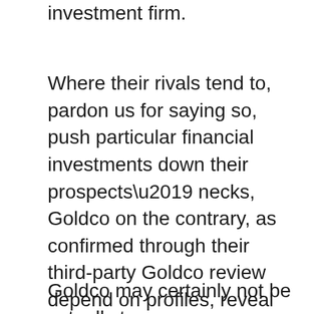investment firm.
Where their rivals tend to, pardon us for saying so, push particular financial investments down their prospects’ necks, Goldco on the contrary, as confirmed through their third-party Goldco review depend on profiles, reveal an earnest devotion to accurate customer service, patiently committing their time and know-how to appropriately determine what their possibility’s necessities are actually based on their personal situation, not “one hat suits all” as this is actually seldom in the possibility’s benefits.
Goldco may certainly not be actually too